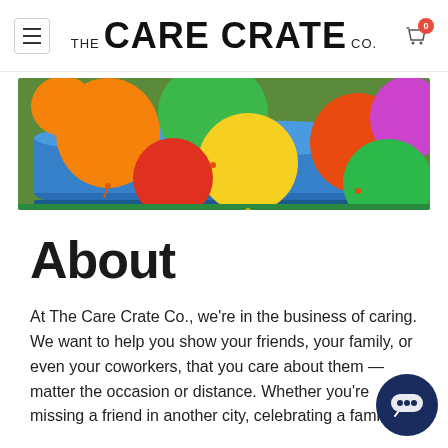THE CARE CRATE CO.
[Figure (photo): Colorful water balloons (orange, green, yellow, red, purple) piled in a blue plastic tub on grass]
About
At The Care Crate Co., we're in the business of caring. We want to help you show your friends, your family, or even your coworkers, that you care about them — matter the occasion or distance. Whether you're missing a friend in another city, celebrating a family